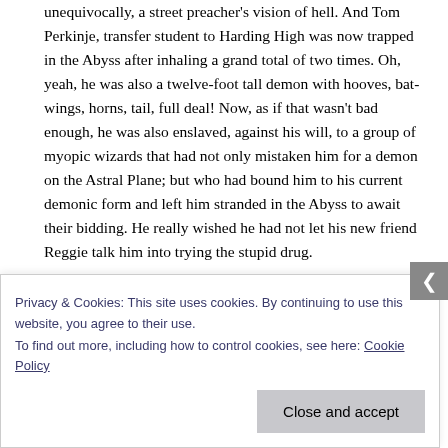unequivocally, a street preacher's vision of hell. And Tom Perkinje, transfer student to Harding High was now trapped in the Abyss after inhaling a grand total of two times. Oh, yeah, he was also a twelve-foot tall demon with hooves, bat-wings, horns, tail, full deal!  Now, as if that wasn't bad enough, he was also enslaved, against his will, to a group of myopic wizards that had not only mistaken him for a demon on the Astral Plane; but who had bound him to his current demonic form and left him stranded in the Abyss to await their bidding. He really wished he had not let his new friend Reggie talk him into trying the stupid drug.
Plot: Okay other than an obvious if somewhat exaggerated warning against doing illicit drugs, this story is actually pretty freaking hilarious. Into The Abyss turns all the standard stereotypes on their head, which is very refreshing. Adding on
Privacy & Cookies: This site uses cookies. By continuing to use this website, you agree to their use.
To find out more, including how to control cookies, see here: Cookie Policy